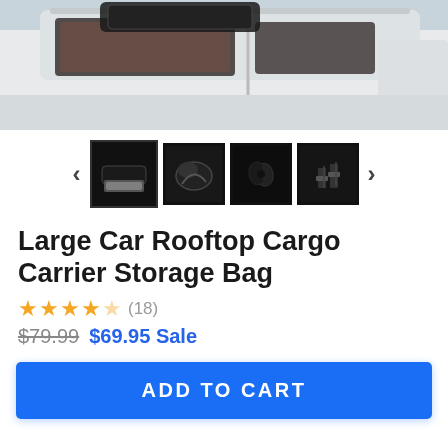[Figure (photo): Cropped photo showing the rooftop area of a white SUV/truck with dark windows and a cargo carrier bag mounted on top]
[Figure (photo): Thumbnail gallery with 4 product images of a rooftop cargo carrier bag: mounted on car, folded bag, fabric close-up, strap detail. Navigation arrows on each side.]
Large Car Rooftop Cargo Carrier Storage Bag
★★★★☆ (18)
$79.99  $69.95 Sale
ADD TO CART